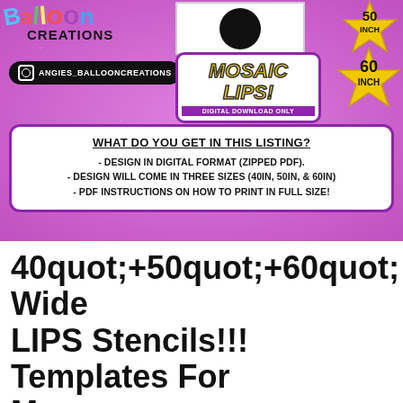[Figure (illustration): Angie's Balloon Creations product listing image with purple sparkle background, balloon text logo, Instagram badge, mosaic lips title box, black circle graphic, star badges for 50 INCH and 60 INCH, and info box listing what is included in the digital download listing.]
40quot;+50quot;+60quot; Wide LIPS Stencils!!! Templates For M
$5